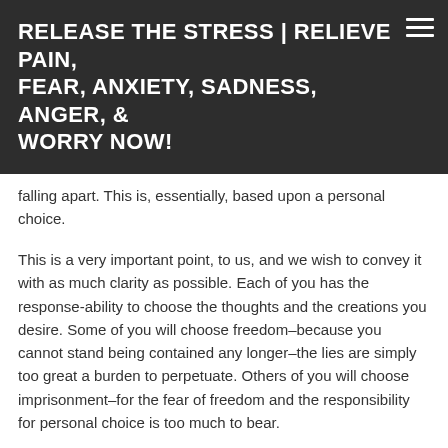RELEASE THE STRESS | RELIEVE PAIN, FEAR, ANXIETY, SADNESS, ANGER, & WORRY NOW!
falling apart. This is, essentially, based upon a personal choice.
This is a very important point, to us, and we wish to convey it with as much clarity as possible. Each of you has the response-ability to choose the thoughts and the creations you desire. Some of you will choose freedom–because you cannot stand being contained any longer–the lies are simply too great a burden to perpetuate. Others of you will choose imprisonment–for the fear of freedom and the responsibility for personal choice is too much to bear.
This is a split in the road of evolution.